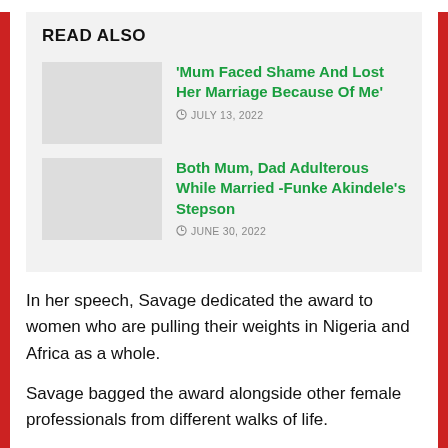READ ALSO
'Mum Faced Shame And Lost Her Marriage Because Of Me'
JULY 13, 2022
Both Mum, Dad Adulterous While Married -Funke Akindele's Stepson
JUNE 30, 2022
In her speech, Savage dedicated the award to women who are pulling their weights in Nigeria and Africa as a whole.
Savage bagged the award alongside other female professionals from different walks of life.
The award was the eighth in the series and had in